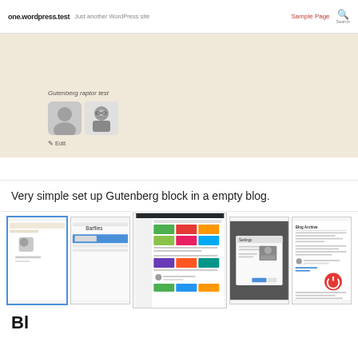one.wordpress.test  Just another WordPress site  Sample Page  Search
[Figure (screenshot): WordPress site hero section with beige background showing Gutenberg caption text, two avatar images (a grey placeholder and a male headshot in grayscale), and an Edit link below.]
Very simple set up Gutenberg block in a empty blog.
[Figure (screenshot): A horizontal strip of 5 thumbnail screenshots showing various WordPress/Gutenberg states: the current page (highlighted with blue border), a block editor view, a plugin page with colorful food images, a modal/dialog screenshot, and a blog post screenshot with a power button icon.]
Bl